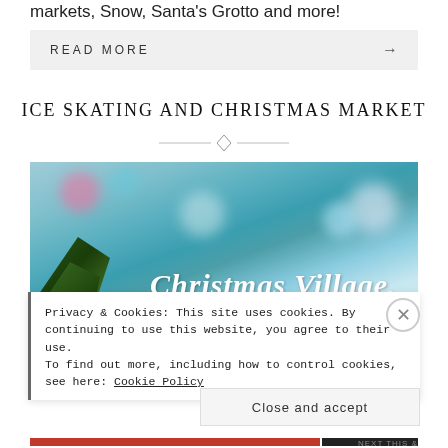markets, Snow, Santa's Grotto and more!
READ MORE →
ICE SKATING AND CHRISTMAS MARKET
[Figure (photo): Christmas Village photograph with bokeh lights and pine branches, cursive text 'Christmas Village' overlaid]
Privacy & Cookies: This site uses cookies. By continuing to use this website, you agree to their use.
To find out more, including how to control cookies, see here: Cookie Policy
Close and accept